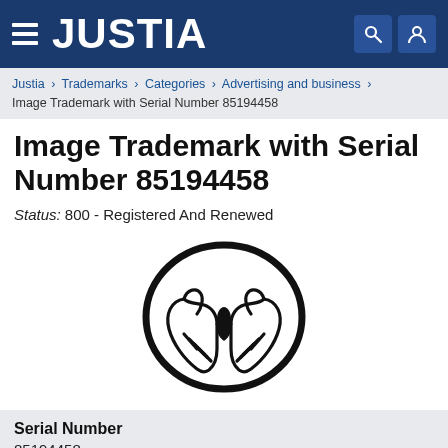JUSTIA
Justia › Trademarks › Categories › Advertising and business › Image Trademark with Serial Number 85194458
Image Trademark with Serial Number 85194458
Status: 800 - Registered And Renewed
[Figure (logo): Trademark image: two hands clasped together inside an oval outline, rendered in black and white line art]
Serial Number
85194458